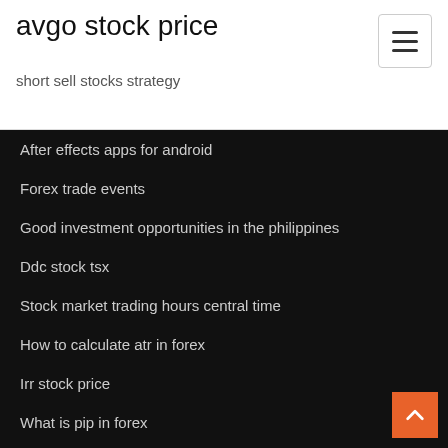avgo stock price
short sell stocks strategy
After effects apps for android
Forex trade events
Good investment opportunities in the philippines
Ddc stock tsx
Stock market trading hours central time
How to calculate atr in forex
Irr stock price
What is pip in forex
What is net position in trading
Alliance mma stock symbol